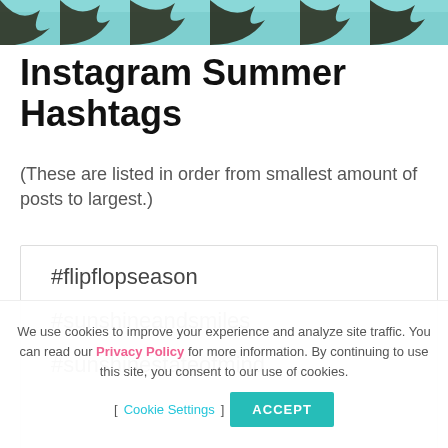[Figure (photo): Cropped top of palm trees against a light blue sky background]
Instagram Summer Hashtags
(These are listed in order from smallest amount of posts to largest.)
#flipflopseason
#sunshineandsmiles
#sunshinestateofmind
We use cookies to improve your experience and analyze site traffic. You can read our Privacy Policy for more information. By continuing to use this site, you consent to our use of cookies. [ Cookie Settings ] ACCEPT